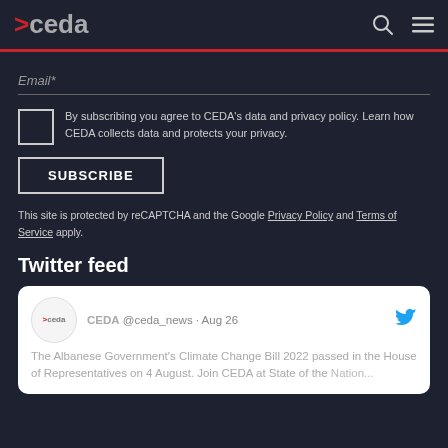>ceda
Email*
By subscribing you agree to CEDA's data and privacy policy. Learn how CEDA collects data and protects your privacy.
SUBSCRIBE
This site is protected by reCAPTCHA and the Google Privacy Policy and Terms of Service apply.
Twitter feed
CEDA @ceda_news · Aug 26
The Albanese Government's Climate Change Bill 2022 passed in the House of Representatives on 4 August. Join CEDA at State of the Nation...